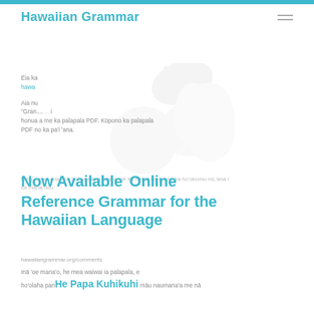Hawaiian Grammar
Eia ka...
hawa...
Aia nu... "Gran.... honua a me ka palapala PDF. Kūpono ka palapala PDF no ka pa'i 'ana.
Now Available Online
Reference Grammar for the Hawaiian Language
E hoʻomau ana i ka hoʻomaika'i 'ana a me ka nīnau i ane'i no ka ho'okomu nū,'ana i ka māna nou:
hawaiiangrammar.org/comments
Inā 'oe mana'o, he mea waiwai ia palapala, e ho'olaha pana'oe me māu naumana'a me nā
He Papa Kuhikuhi